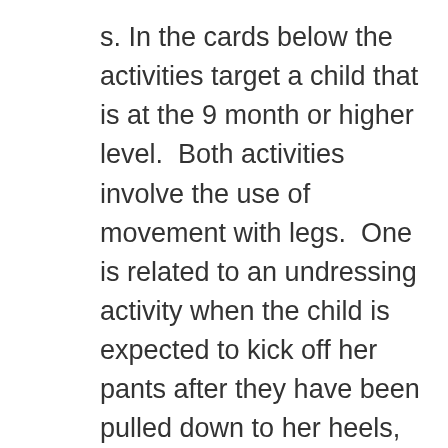s. In the cards below the activities target a child that is at the 9 month or higher level.  Both activities involve the use of movement with legs.  One is related to an undressing activity when the child is expected to kick off her pants after they have been pulled down to her heels, which might take place in a toileting or hygiene routine or preparing to take a swim.  The other activity involves walking in a HOPSA dress on a track in bare feet. It can relate to skills such as learning to shift weight to balance (PT), moving legs and feet for walking (physical therapy – PT and orientation and mobility – O&M), navigating uneven surfaces (O&M), exploring various textures using his feet (sensory efficiency). If objects in the bins are based on a science lesson or a story about plants